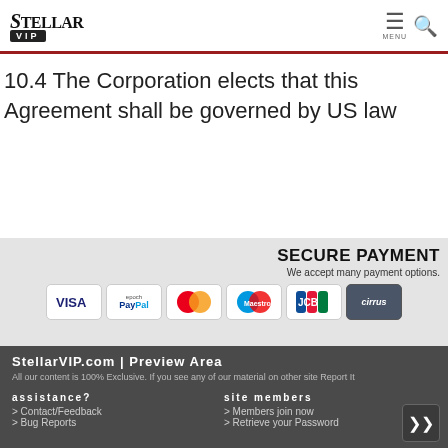StellarVIP — navigation header with logo, menu and search icons
10.4 The Corporation elects that this Agreement shall be governed by US law
[Figure (infographic): Secure Payment section showing accepted payment methods: VISA, epoch PayPal, MasterCard, Maestro, JCB, Cirrus. Text: SECURE PAYMENT — We accept many payment options.]
StellarVIP.com | Preview Area
All our content is 100% Exclusive. If you see any of our material on other site Report It

assistance?
> Contact/Feedback
> Bug Reports

site members
> Members join now
> Retrieve your Password